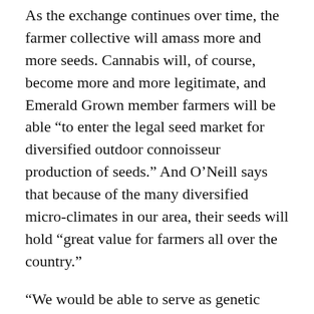As the exchange continues over time, the farmer collective will amass more and more seeds. Cannabis will, of course, become more and more legitimate, and Emerald Grown member farmers will be able “to enter the legal seed market for diversified outdoor connoisseur production of seeds.” And O’Neill says that because of the many diversified micro-climates in our area, their seeds will hold “great value for farmers all over the country.”
“We would be able to serve as genetic ambassadors for this plant that we’ve been holding onto and maintaining for all these generations…”
O’Neill is hella good at waxing poetic:
“I feel like every day in my life is training for today, and tomorrow will be the same thing… We produce a plant that we love. It grows from seed with water and soil,